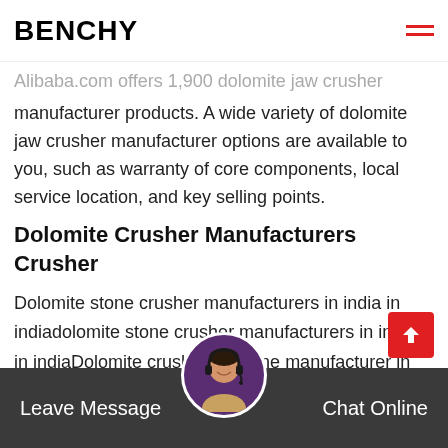BENCHY
Alibaba.com offers 1,900 dolomite jaw crusher manufacturer products. A wide variety of dolomite jaw crusher manufacturer options are available to you, such as warranty of core components, local service location, and key selling points.
Dolomite Crusher Manufacturers Crusher
Dolomite stone crusher manufacturers in india in indiadolomite stone crusher manufacturers in india in indiaDolomite crusher machine manufacturer in india pmetroit dolomite stone crusher manufacturers in india dolomite stone crusher manufacturers in india dolomite is a , dolomite crusher manufacturers